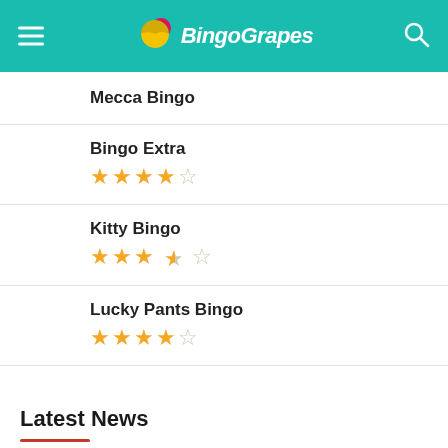BingoGrapes
Mecca Bingo
Bingo Extra — 4 out of 5 stars
Kitty Bingo — 3.5 out of 5 stars
Lucky Pants Bingo — 4 out of 5 stars
Latest News